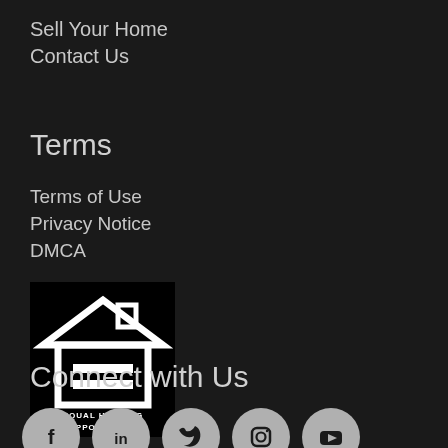Sell Your Home
Contact Us
Terms
Terms of Use
Privacy Notice
DMCA
[Figure (logo): Equal Housing Opportunity logo — white house outline with equal sign, black background, text EQUAL HOUSING OPPORTUNITY]
Connect with Us
[Figure (other): Social media icons row: Facebook, LinkedIn, Twitter, Instagram, YouTube — grey circles on dark background]